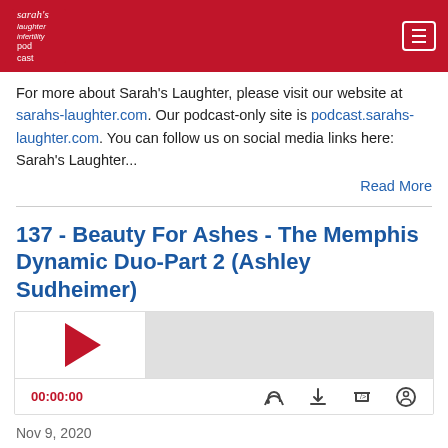Sarah's Laughter Infertility Podcast
For more about Sarah's Laughter, please visit our website at sarahs-laughter.com. Our podcast-only site is podcast.sarahs-laughter.com. You can follow us on social media links here: Sarah's Laughter...
Read More
137 - Beauty For Ashes - The Memphis Dynamic Duo-Part 2 (Ashley Sudheimer)
[Figure (other): Podcast audio player with play button, progress bar, timestamp showing 00:00:00, and icons for subscribe, download, embed, and settings]
Nov 9, 2020
Ashley co-leads the Sarah's Laughter Infertility Support Group